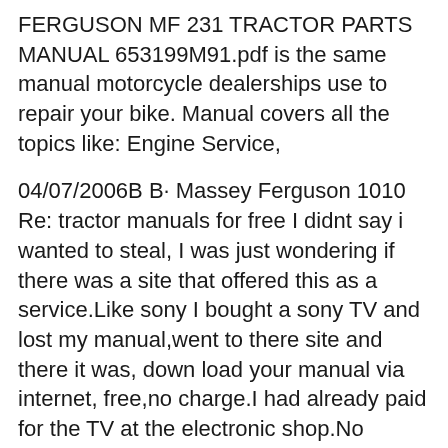FERGUSON MF 231 TRACTOR PARTS MANUAL 653199M91.pdf is the same manual motorcycle dealerships use to repair your bike. Manual covers all the topics like: Engine Service,
04/07/2006B B· Massey Ferguson 1010 Re: tractor manuals for free I didnt say i wanted to steal, I was just wondering if there was a site that offered this as a service.Like sony I bought a sony TV and lost my manual,went to there site and there it was, down load your manual via internet, free,no charge.I had already paid for the TV at the electronic shop.No stealing involved.Thanks,sorry for the 04/07/2006B B· Massey Ferguson 1010